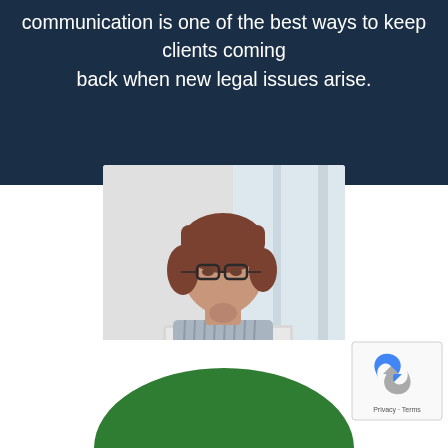communication is one of the best ways to keep clients coming back when new legal issues arise.
[Figure (photo): A woman with glasses sitting at a desk, resting her chin on her hand, working on a laptop in a bright office environment.]
[Figure (other): Green semicircle/dome shape at the bottom of the page, partially visible. A reCAPTCHA widget is visible in the bottom right corner.]